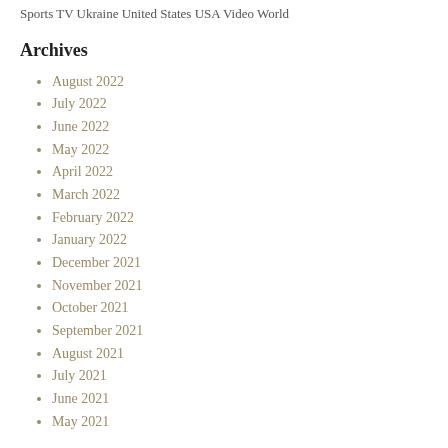Sports TV Ukraine United States USA Video World
Archives
August 2022
July 2022
June 2022
May 2022
April 2022
March 2022
February 2022
January 2022
December 2021
November 2021
October 2021
September 2021
August 2021
July 2021
June 2021
May 2021